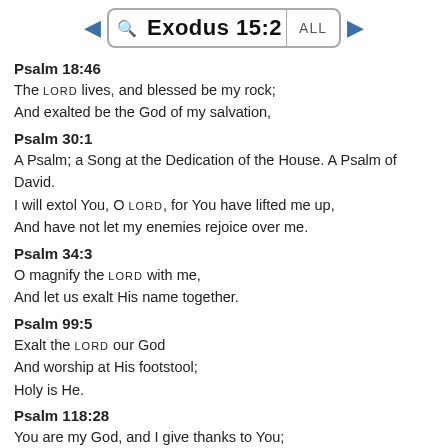Exodus 15:2  ALL
Psalm 18:46
The LORD lives, and blessed be my rock;
And exalted be the God of my salvation,
Psalm 30:1
A Psalm; a Song at the Dedication of the House. A Psalm of David.
I will extol You, O LORD, for You have lifted me up,
And have not let my enemies rejoice over me.
Psalm 34:3
O magnify the LORD with me,
And let us exalt His name together.
Psalm 99:5
Exalt the LORD our God
And worship at His footstool;
Holy is He.
Psalm 118:28
You are my God, and I give thanks to You;
You are my God, I extol You.